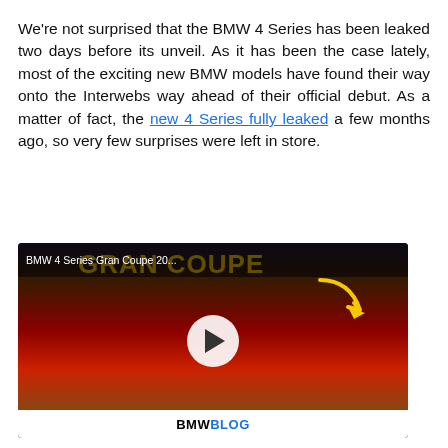We're not surprised that the BMW 4 Series has been leaked two days before its unveil. As it has been the case lately, most of the exciting new BMW models have found their way onto the Interwebs way ahead of their official debut. As a matter of fact, the new 4 Series fully leaked a few months ago, so very few surprises were left in store.
[Figure (screenshot): Video thumbnail showing a red BMW 4 Series Gran Coupe 2021 from the front, displayed on BMWBlog. A play button is visible in the center. Text overlay reads 'BMW 4 Series Gran Coupe 20...' and 'GRAN COUPE' in large letters. A yellow arrow points at the car's grille. The BMWBLOG logo appears at the bottom.]